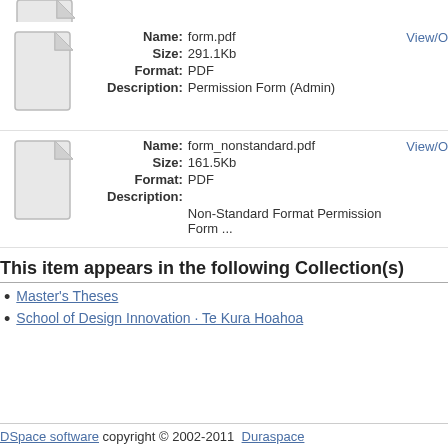[Figure (illustration): Partial clipped file/document icon at top]
Name: form.pdf
Size: 291.1Kb
Format: PDF
Description: Permission Form (Admin)
[Figure (illustration): File/document icon for form.pdf]
View/O...
[Figure (illustration): File/document icon for form_nonstandard.pdf]
Name: form_nonstandard.pdf
Size: 161.5Kb
Format: PDF
Description: Non-Standard Format Permission Form ...
View/O...
This item appears in the following Collection(s)
Master's Theses
School of Design Innovation · Te Kura Hoahoa
DSpace software copyright © 2002-2011  Duraspace